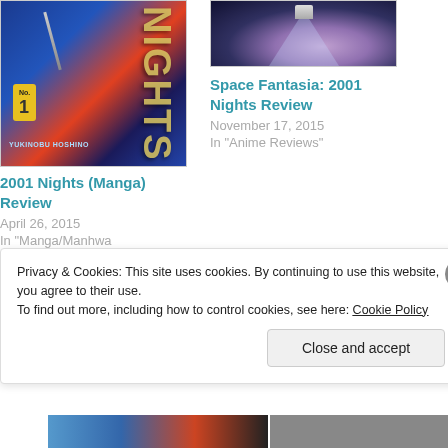[Figure (photo): Book cover for '2001 Nights' manga with blue/red space background and large stylized NIGHTS text]
2001 Nights (Manga) Review
April 26, 2015
In "Manga/Manhwa Reviews"
[Figure (photo): Space Fantasia anime cover with spacecraft and beam of light on purple planet background]
Space Fantasia: 2001 Nights Review
November 17, 2015
In "Anime Reviews"
Privacy & Cookies: This site uses cookies. By continuing to use this website, you agree to their use.
To find out more, including how to control cookies, see here: Cookie Policy
Close and accept